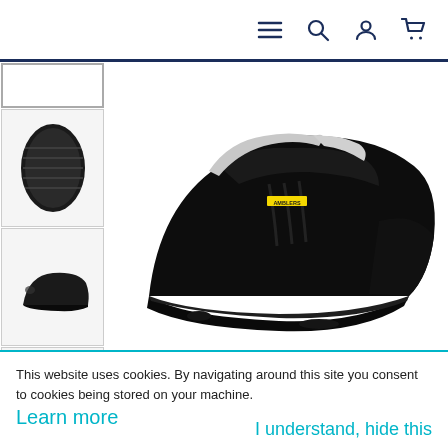Navigation bar with menu, search, account, and cart icons
[Figure (photo): E-commerce product page screenshot showing a black slip-on safety shoe (Amblers brand) with thumbnails on the left: sole view, side/back view, and sole bottom view. Main large image shows the black leather slip-on safety shoe from a 3/4 angle with grey interior lining visible.]
This website uses cookies. By navigating around this site you consent to cookies being stored on your machine.
Learn more
I understand, hide this